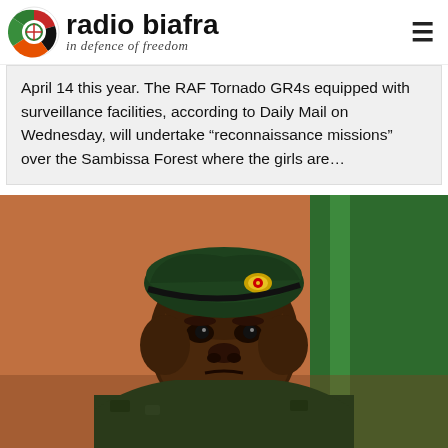radio biafra — in defence of freedom
April 14 this year. The RAF Tornado GR4s equipped with surveillance facilities, according to Daily Mail on Wednesday, will undertake "reconnaissance missions" over the Sambissa Forest where the girls are…
[Figure (photo): Close-up portrait of a Nigerian military officer wearing a dark green beret with a badge, dressed in military camouflage uniform, looking stern against a blurred green and orange-brown background.]